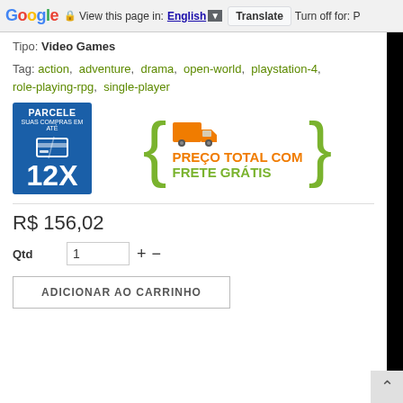Google  View this page in: English [▼]  Translate  Turn off for: P
Tipo: Video Games
Tag: action,  adventure,  drama,  open-world,  playstation-4,  role-playing-rpg,  single-player
[Figure (infographic): Two promotional banners side by side: left is a blue badge reading PARCELE SUAS COMPRAS EM ATE 12X with a credit card icon; right shows a truck icon with orange and green text reading PRECO TOTAL COM FRETE GRATIS inside green curly braces.]
R$ 156,02
Qtd  1  +  -
ADICIONAR AO CARRINHO